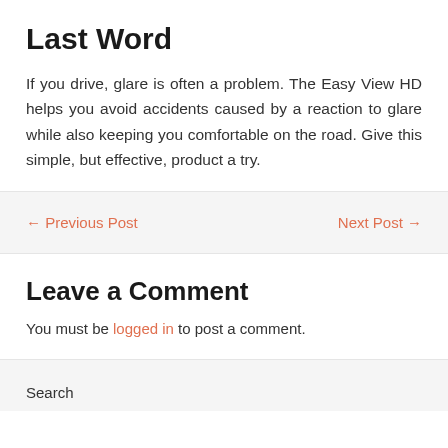Last Word
If you drive, glare is often a problem. The Easy View HD helps you avoid accidents caused by a reaction to glare while also keeping you comfortable on the road. Give this simple, but effective, product a try.
← Previous Post   Next Post →
Leave a Comment
You must be logged in to post a comment.
Search